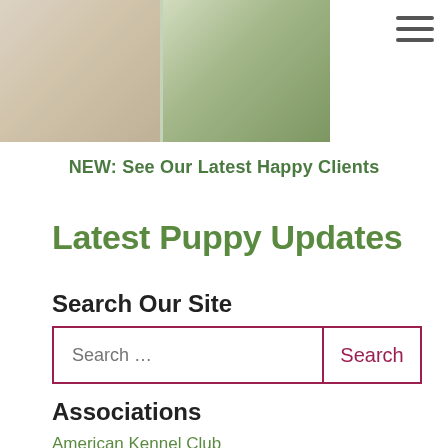[Figure (photo): Two dogs or puppies photographed outdoors, partially visible at top of page]
NEW: See Our Latest Happy Clients
Latest Puppy Updates
Search Our Site
Search ...
Associations
American Kennel Club
Ducks Unlimited
Labrador Retrievers CLub